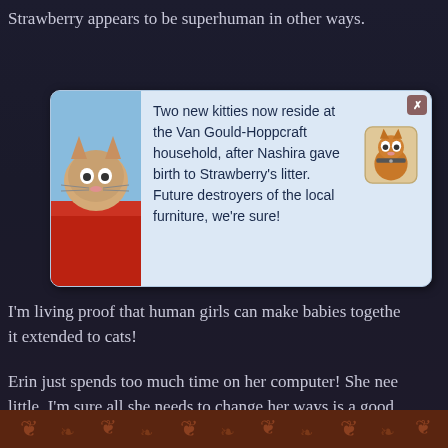Strawberry appears to be superhuman in other ways.
[Figure (screenshot): A Sims game notification popup with light blue background showing two cats. Left shows a fluffy cat in a blue/red scene, right shows an orange cat icon. Text reads: Two new kitties now reside at the Van Gould-Hoppcraft household, after Nashira gave birth to Strawberry's litter. Future destroyers of the local furniture, we're sure!]
I'm living proof that human girls can make babies together, it extended to cats!
Erin just spends too much time on her computer! She nee... little. I'm sure all she needs to change her ways is a good
[Figure (illustration): Bottom decorative band with reddish-brown pattern and stylized figures on dark background]